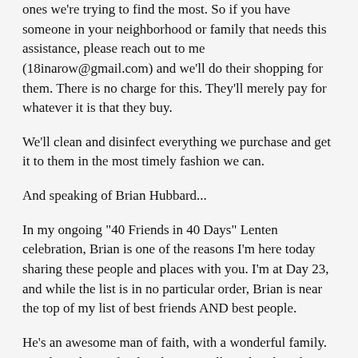ones we're trying to find the most. So if you have someone in your neighborhood or family that needs this assistance, please reach out to me (18inarow@gmail.com) and we'll do their shopping for them. There is no charge for this. They'll merely pay for whatever it is that they buy.
We'll clean and disinfect everything we purchase and get it to them in the most timely fashion we can.
And speaking of Brian Hubbard...
In my ongoing "40 Friends in 40 Days" Lenten celebration, Brian is one of the reasons I'm here today sharing these people and places with you. I'm at Day 23, and while the list is in no particular order, Brian is near the top of my list of best friends AND best people.
He's an awesome man of faith, with a wonderful family. He's heavily involved with Hunt Valley Church and FCA and also serves as my assistant coach for the Calvert Hall